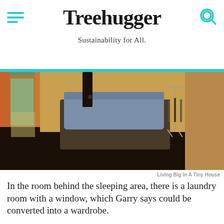Treehugger — Sustainability for All.
[Figure (photo): Interior of a tiny house showing a sleeping area with a bed covered in a blue comforter, dark wood floors, an orange/yellow wall, and a garment rack in the background.]
Living Big In A Tiny House
In the room behind the sleeping area, there is a laundry room with a window, which Garry says could be converted into a wardrobe.
Advertisement
[Figure (screenshot): Advertisement banner: dark background with red dots, large white text 'We help people' and Dotdash Meredith branding at the bottom.]